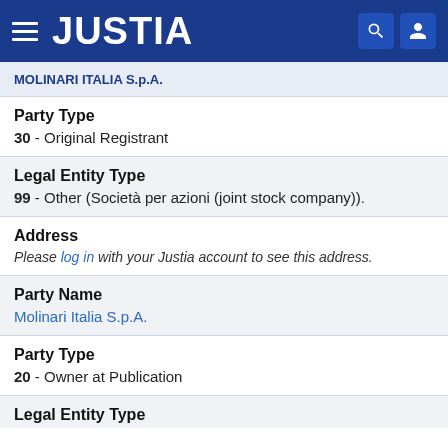JUSTIA
MOLINARI ITALIA S.p.A.
Party Type
30 - Original Registrant
Legal Entity Type
99 - Other (Società per azioni (joint stock company)).
Address
Please log in with your Justia account to see this address.
Party Name
Molinari Italia S.p.A.
Party Type
20 - Owner at Publication
Legal Entity Type